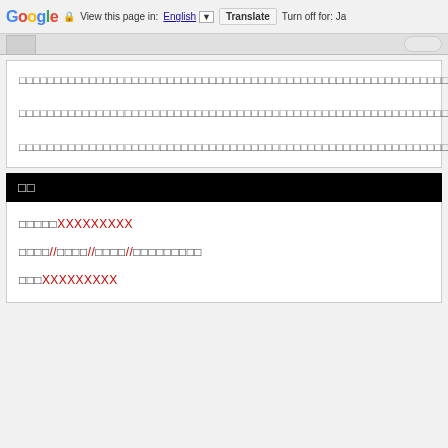Google  View this page in: English  Translate  Turn off for: Ja
□□□□□□□□□□□□□□□□□□□□□□□□□□□□□□□□□□□□□□□□□□□□□□□□□□□□□□□□□□□□□□□□□□□□□□□□□□□□□□□□□□□□□□□□□□□□□□□□□□□□□□□□□□□□□□□□□□□□□□□□□□□□□□□□□□□□□□□□□□□□□□□□□□□□□□□□□□□□□□□□□□□□□□□□□□□□□□□□□□□□□□□□□□□□□□□□□□□□□□□□□□□□
□□□□□□□□□□□□□□□□□□□□□□□□□□□□□□□□□□□□□□□□□□□□□□□□□□□□□□□□□□□□□□□□□□□□□□□□□□□□□□□□□□□□□□□□□□□□□□□□□□□□□□□□□□□□□□□□□□□□□□□□□□□□□□□□□□□□□□□□□□□□□□□□□□□□□□□□□□□□□□□□□□□□□□□□□□□□□□□□□□□□□□□□□□□□□□□□□□□□□□□□□□□□
□□□□□□□□□□□□□□□□□□□□□□□□□□□□□□□□□□□□□□□□□□□□□□□□□□□□□□□□□□□□□□□□□□□□□□□□□□□□□□□□□□□□□□□□□□□□□□□□□□□□□□□□□□□□□□□□□□□□□□□□□□□□□□□□□□□□□□□□□□□□□□□□□□□□□□□□□□
□□
□□□□□XXXXXXXXX
□□□□//□□□□//□□□□//□□□□□□□□□
□□□XXXXXXXXX